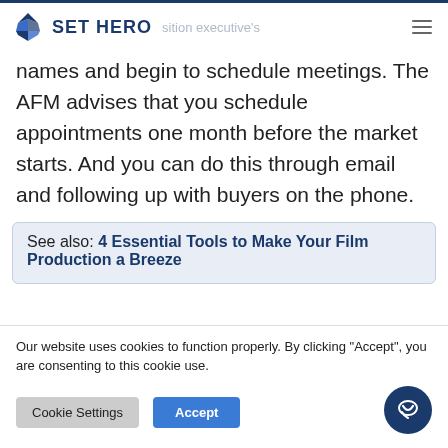SET HERO
names and begin to schedule meetings. The AFM advises that you schedule appointments one month before the market starts. And you can do this through email and following up with buyers on the phone.
See also: 4 Essential Tools to Make Your Film Production a Breeze
Our website uses cookies to function properly. By clicking "Accept", you are consenting to this cookie use.